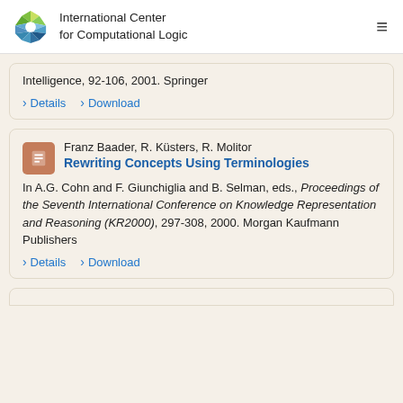International Center for Computational Logic
Intelligence, 92-106, 2001. Springer
› Details   › Download
Franz Baader, R. Küsters, R. Molitor
Rewriting Concepts Using Terminologies
In A.G. Cohn and F. Giunchiglia and B. Selman, eds., Proceedings of the Seventh International Conference on Knowledge Representation and Reasoning (KR2000), 297-308, 2000. Morgan Kaufmann Publishers
› Details   › Download